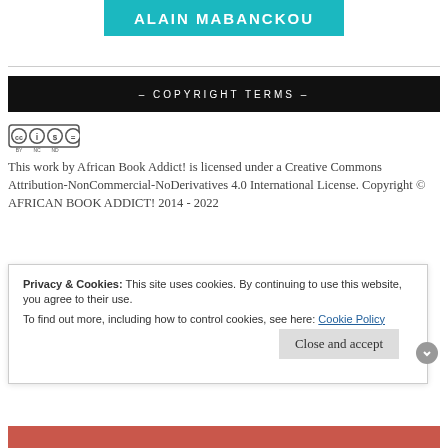[Figure (illustration): Teal banner with author name ALAIN MABANCKOU in white bold text]
– COPYRIGHT TERMS –
[Figure (logo): Creative Commons BY NC ND license badge with four circles: CC, person, dollar-sign-crossed, equals-sign]
This work by African Book Addict! is licensed under a Creative Commons Attribution-NonCommercial-NoDerivatives 4.0 International License. Copyright © AFRICAN BOOK ADDICT! 2014 - 2022
Privacy & Cookies: This site uses cookies. By continuing to use this website, you agree to their use.
To find out more, including how to control cookies, see here: Cookie Policy
Close and accept